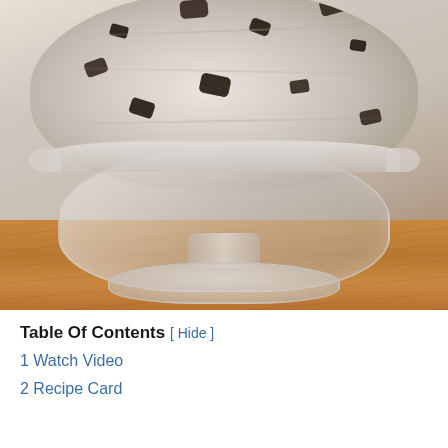[Figure (photo): Close-up photo of cookies and cream ice cream scoops in a clear glass pedestal dessert bowl, placed on a wooden table surface]
Table Of Contents  [ Hide ]
1  Watch Video
2  Recipe Card